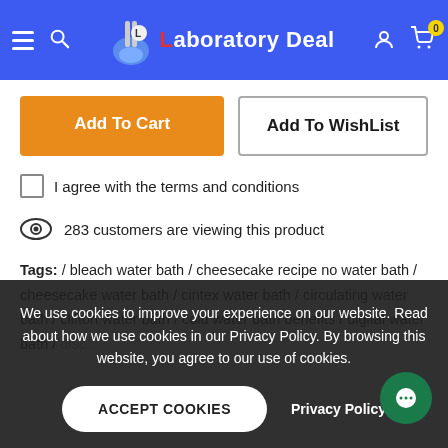Laboratory Deal
Add To Cart
Add To WishList
I agree with the terms and conditions
283 customers are viewing this product
Tags: / bleach water bath / cheesecake recipe no water bath / cheesecake water bath / cintex water bath / circulating water bath / clifton water bath / cold water bath benefits / digital water bath / ...
We use cookies to improve your experience on our website. Read about how we use cookies in our Privacy Policy. By browsing this website, you agree to our use of cookies.
ACCEPT COOKIES
Privacy Policy